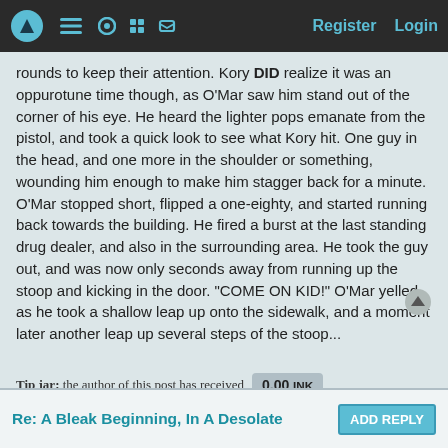Register  Login
rounds to keep their attention. Kory DID realize it was an oppurotune time though, as O'Mar saw him stand out of the corner of his eye. He heard the lighter pops emanate from the pistol, and took a quick look to see what Kory hit. One guy in the head, and one more in the shoulder or something, wounding him enough to make him stagger back for a minute. O'Mar stopped short, flipped a one-eighty, and started running back towards the building. He fired a burst at the last standing drug dealer, and also in the surrounding area. He took the guy out, and was now only seconds away from running up the stoop and kicking in the door. "COME ON KID!" O'Mar yelled as he took a shallow leap up onto the sidewalk, and a moment later another leap up several steps of the stoop...
Tip jar: the author of this post has received 0.00 INK in return for their work.
Re: A Bleak Beginning, In A Desolate